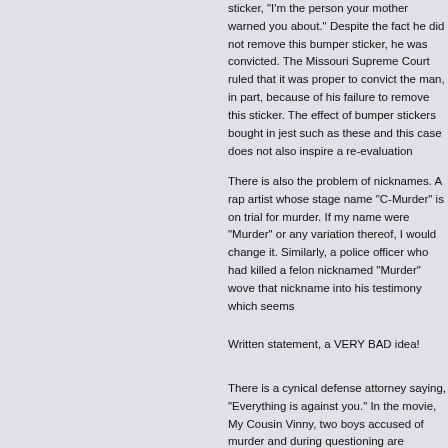sticker, "I'm the person your mother warned you about." Despite the fact he did not remove this bumper sticker, he was convicted. The Missouri Supreme Court ruled that it was proper to convict the man, in part, because of his failure to remove this sticker. The effect of bumper stickers bought in jest such as these and this case does not also inspire a re-evaluation
There is also the problem of nicknames. A rap artist whose stage name "C-Murder" is on trial for murder. If my name were "Murder" or any variation thereof, I would change it. Similarly, a police officer who had killed a felon nicknamed "Murder" wove that nickname into his testimony which seems
Written statement, a VERY BAD idea!
There is a cynical defense attorney saying, "Everything is against you." In the movie, My Cousin Vinny, two boys accused of murder and during questioning are accused and one says "I shot the clerk?" This is taken down and used against him; audiences laughed, defense attorneys smiled grimly in scenes where comments by other persons have been used against him; complete silence is the only